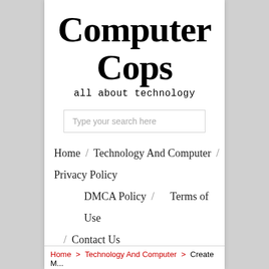Computer Cops
all about technology
Type your search here
Home / Technology And Computer / Privacy Policy
DMCA Policy / Terms of Use / Contact Us
Home > Technology And Computer > Create M...